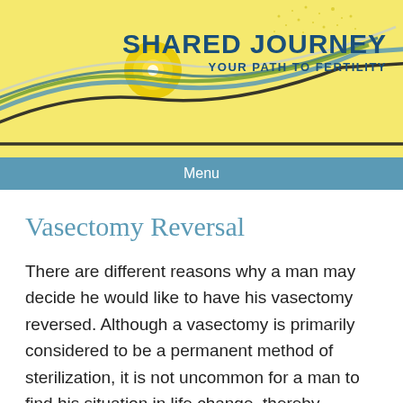[Figure (illustration): Shared Journey fertility website header with decorative swooping curves in blue, green, and black on a yellow background, with a circular sunburst/globe element, and text 'SHARED JOURNEY YOUR PATH TO FERTILITY']
Menu
Vasectomy Reversal
There are different reasons why a man may decide he would like to have his vasectomy reversed. Although a vasectomy is primarily considered to be a permanent method of sterilization, it is not uncommon for a man to find his situation in life change, thereby causing him to desire having children again. And with recent